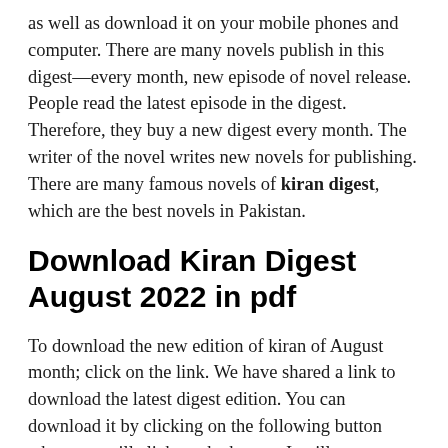as well as download it on your mobile phones and computer. There are many novels publish in this digest—every month, new episode of novel release. People read the latest episode in the digest. Therefore, they buy a new digest every month. The writer of the novel writes new novels for publishing. There are many famous novels of kiran digest, which are the best novels in Pakistan.
Download Kiran Digest August 2022 in pdf
To download the new edition of kiran of August month; click on the link. We have shared a link to download the latest digest edition. You can download it by clicking on the following button when you will click on the button. It will open a new window where you can download it in pdf. We upload the